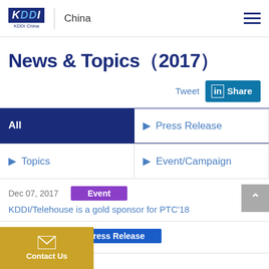KDDI China | China
News & Topics（2017）
Tweet  Share
All
▶ Press Release
▶ Topics
▶ Event/Campaign
Dec 07, 2017  Event  KDDI/Telehouse is a gold sponsor for PTC'18
Oct 24, 2017  Press Release